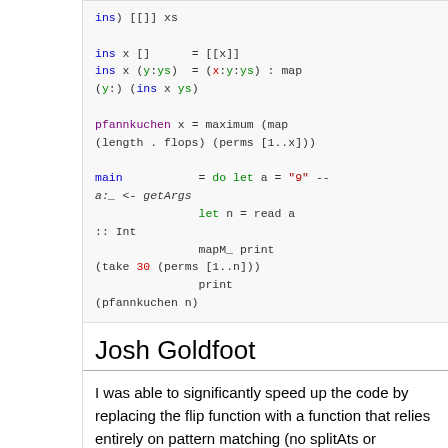ins) [[]] xs

ins x [] = [[x]]
ins x (y:ys) = (x:y:ys) : map (y:) (ins x ys)

pfannkuchen x = maximum (map (length . flops) (perms [1..x]))

main = do let a = "9" --
a:_ <- getArgs
    let n = read a :: Int
    mapM_ print (take 30 (perms [1..n]))
    print (pfannkuchen n)
Josh Goldfoot
I was able to significantly speed up the code by replacing the flip function with a function that relies entirely on pattern matching (no splitAts or reverses). It looks ugly, though:
mangle list@(1:xs) = list